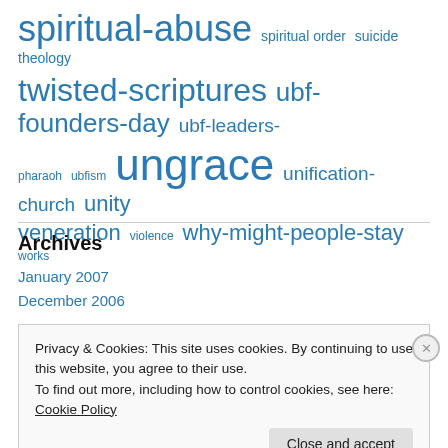spiritual-abuse spiritual order suicide theology twisted-scriptures ubf-founders-day ubf-leaders-pharaoh ubfism ungrace unification-church unity veneration violence why-might-people-stay works
Archives
January 2007
December 2006
Privacy & Cookies: This site uses cookies. By continuing to use this website, you agree to their use. To find out more, including how to control cookies, see here: Cookie Policy